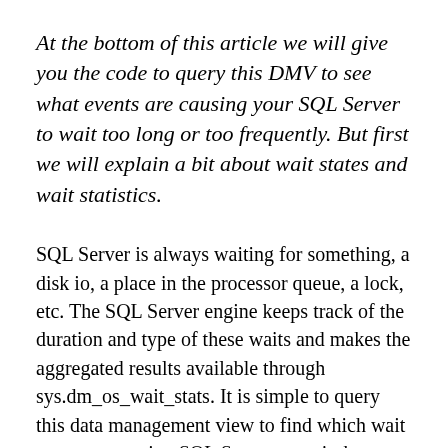At the bottom of this article we will give you the code to query this DMV to see what events are causing your SQL Server to wait too long or too frequently. But first we will explain a bit about wait states and wait statistics.
SQL Server is always waiting for something, a disk io, a place in the processor queue, a lock, etc. The SQL Server engine keeps track of the duration and type of these waits and makes the aggregated results available through sys.dm_os_wait_stats. It is simple to query this data management view to find which wait types are causing SQL Server to wait the